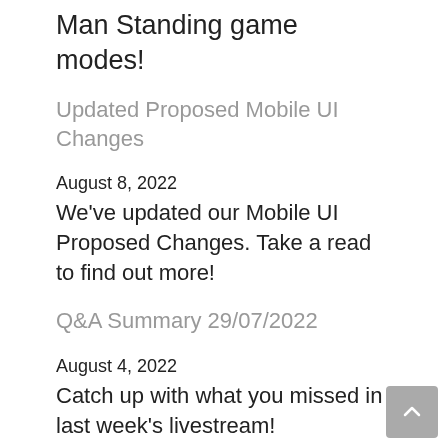Man Standing game modes!
Updated Proposed Mobile UI Changes
August 8, 2022
We've updated our Mobile UI Proposed Changes. Take a read to find out more!
Q&A Summary 29/07/2022
August 4, 2022
Catch up with what you missed in last week's livestream!
Maximum Hitsplats & Clan Hall Changes
August 3, 2022
This week we're giving max hits a luxurious trim and breathing some life